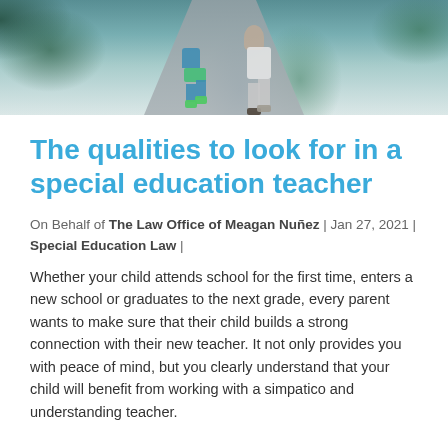[Figure (photo): Outdoor photo showing children and adult walking on a sidewalk path, viewed from above/behind, surrounded by green grass and trees]
The qualities to look for in a special education teacher
On Behalf of The Law Office of Meagan Nuñez | Jan 27, 2021 | Special Education Law |
Whether your child attends school for the first time, enters a new school or graduates to the next grade, every parent wants to make sure that their child builds a strong connection with their new teacher. It not only provides you with peace of mind, but you clearly understand that your child will benefit from working with a simpatico and understanding teacher.